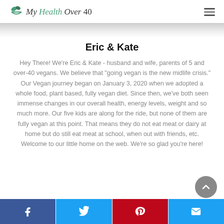My Health Over 40
Eric & Kate
Hey There! We're Eric & Kate - husband and wife, parents of 5 and over-40 vegans. We believe that "going vegan is the new midlife crisis." Our Vegan journey began on January 3, 2020 when we adopted a whole food, plant based, fully vegan diet. Since then, we've both seen immense changes in our overall health, energy levels, weight and so much more. Our five kids are along for the ride, but none of them are fully vegan at this point. That means they do not eat meat or dairy at home but do still eat meat at school, when out with friends, etc. Welcome to our little home on the web. We're so glad you're here!
Share buttons: Facebook, Twitter, Pinterest, Email